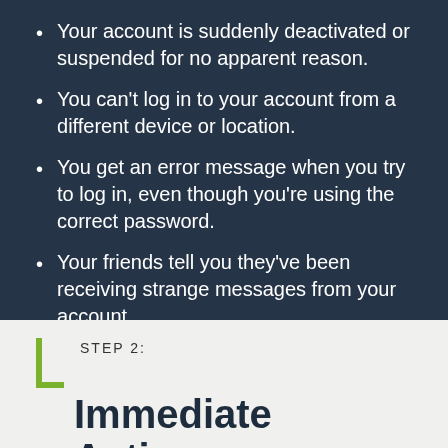Your account is suddenly deactivated or suspended for no apparent reason.
You can't log in to your account from a different device or location.
You get an error message when you try to log in, even though you're using the correct password.
Your friends tell you they've been receiving strange messages from your account.
STEP 2:
Immediate Actions